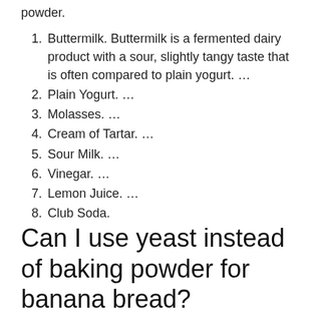powder.
Buttermilk. Buttermilk is a fermented dairy product with a sour, slightly tangy taste that is often compared to plain yogurt. …
Plain Yogurt. …
Molasses. …
Cream of Tartar. …
Sour Milk. …
Vinegar. …
Lemon Juice. …
Club Soda.
Can I use yeast instead of baking powder for banana bread?